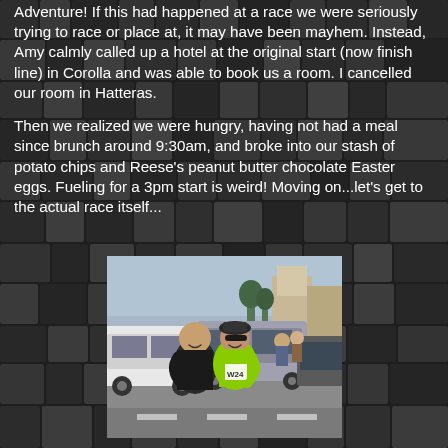Adventure! If this had happened at a race we were seriously trying to race or place at, it may have been mayhem. Instead, Amy calmly called up a hotel at the original start (now finish line) in Corolla and was able to book us a room. I cancelled our room in Hatteras.
Then we realized we were hungry, having not had a meal since brunch around 9:30am, and broke into our stash of potato chips and Reese's peanut butter chocolate Easter eggs. Fueling for a 3pm start is weird! Moving on...let's get to the actual race itself...
[Figure (photo): Two people hugging and smiling outdoors in a parking lot area. One person is wearing a bright yellow/green vest and a cap with sunglasses. Cars and buildings are visible in the background. The person on the right appears to be wearing a race bib numbered W24.]